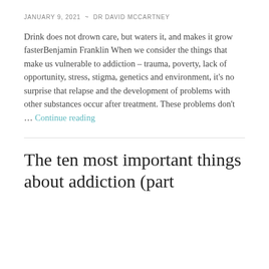JANUARY 9, 2021 ~ DR DAVID MCCARTNEY
Drink does not drown care, but waters it, and makes it grow fasterBenjamin Franklin When we consider the things that make us vulnerable to addiction – trauma, poverty, lack of opportunity, stress, stigma, genetics and environment, it's no surprise that relapse and the development of problems with other substances occur after treatment. These problems don't … Continue reading
The ten most important things about addiction (part